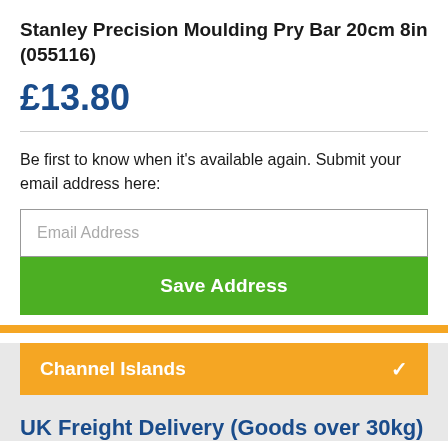Stanley Precision Moulding Pry Bar 20cm 8in (055116)
£13.80
Be first to know when it's available again. Submit your email address here:
Email Address
Save Address
Channel Islands
UK Freight Delivery (Goods over 30kg)